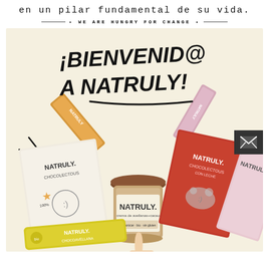en un pilar fundamental de su vida.
• WE ARE HUNGRY FOR CHANGE •
[Figure (photo): Natruly product photo showing welcome message '¡BIENVENID@ A NATRULY!' with various Natruly branded food products including chocolate bars, snack bars, and a jar of hazelnut cream arranged on a cream/beige background. A yellow snack bar is in the foreground and a pointing hand illustration is at the bottom.]